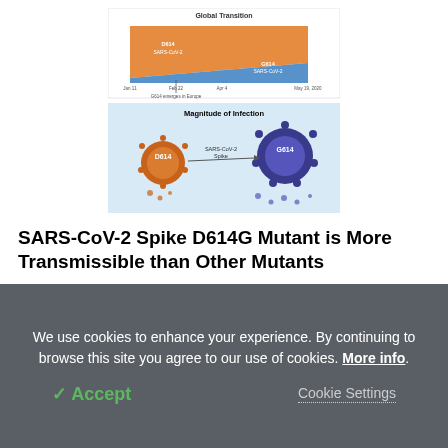[Figure (infographic): Two-panel scientific figure. Top panel: 'Global Transition' area chart showing D614 SARS-CoV-2 versus D614 SARS-CoV-2 variant prevalence over time (Jan 11 to May 19, 2020), with an annotation 'G614 emerges in Europe'. Bottom panel: 'Magnitude of Infection' diagram showing two SARS-CoV-2 virus particles labeled D614 and G614, connected by an arrow through a 'SARS-CoV-2 Spike' label.]
SARS-CoV-2 Spike D614G Mutant is More Transmissible than Other Mutants
[Figure (table-as-image): A small rendered comparison table with colored headers (blue, purple, red columns) comparing properties across three categories, with multiple rows of small text.]
We use cookies to enhance your experience. By continuing to browse this site you agree to our use of cookies. More info.
Accept   Cookie Settings